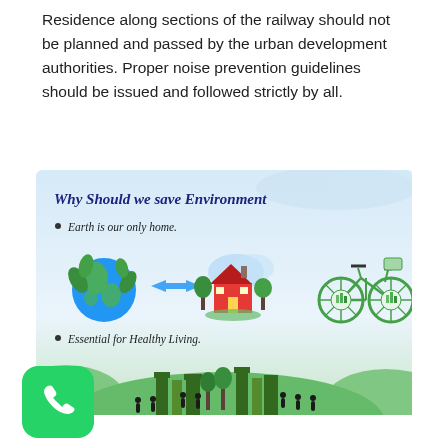Residence along sections of the railway should not be planned and passed by the urban development authorities. Proper noise prevention guidelines should be issued and followed strictly by all.
[Figure (infographic): Infographic titled 'Why Should we save Environment' with two bullet points: 'Earth is our only home.' (showing globe, arrows, house, and bicycle with city icons) and 'Essential for Healthy Living.' (showing silhouettes of people on a green curved Earth with buildings and trees)]
[Figure (logo): WhatsApp green rounded square logo with phone icon]